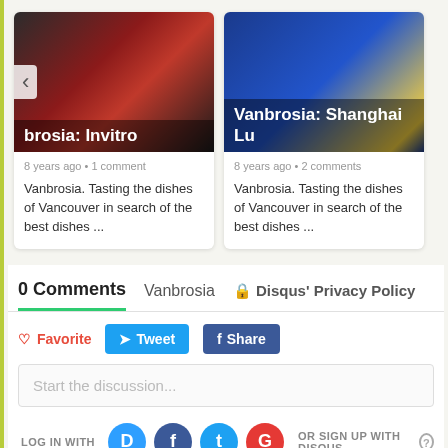[Figure (screenshot): Blog post card showing restaurant exterior image with overlay text 'brosia: Invitro' and left navigation arrow]
8 years ago • 1 comment
Vanbrosia. Tasting the dishes of Vancouver in search of the best dishes ...
[Figure (screenshot): Blog post card showing Shanghai Lu restaurant sign image with overlay text 'Vanbrosia: Shanghai Lu']
8 years ago • 2 comments
Vanbrosia. Tasting the dishes of Vancouver in search of the best dishes ...
0 Comments   Vanbrosia   🔒 Disqus' Privacy Policy
♡ Favorite   🐦 Tweet   f Share
Start the discussion...
LOG IN WITH
OR SIGN UP WITH DISQUS ?
Name